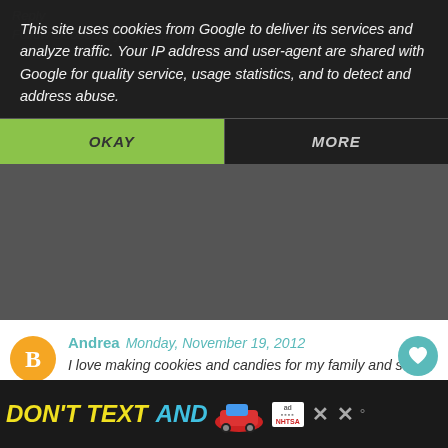This site uses cookies from Google to deliver its services and analyze traffic. Your IP address and user-agent are shared with Google for quality service, usage statistics, and to detect and address abuse.
Follow Gooseberry on Facebook too!
OKAY
MORE
Andrea  Monday, November 19, 2012
I love making cookies and candies for my family and some for gifts for others. Thanks for the chance to enter.

Andrea D.
short74717@msn.com
Reply
1
WHAT'S NEXT → Lemonade
Andrea  Monday, November 19, 2012
DON'T TEXT AND